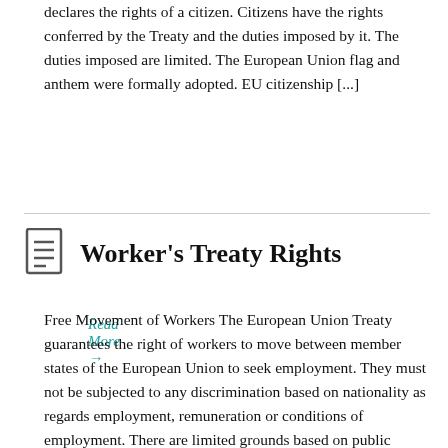declares the rights of a citizen.  Citizens have the rights conferred by the Treaty and the duties imposed by it.  The duties imposed are limited. The European Union flag and anthem were formally adopted. EU citizenship [...]
Read More →
Worker's Treaty Rights
Free Movement of Workers The European Union Treaty guarantees the right of workers to move between member states of the European Union to seek employment.  They must not be subjected to any discrimination based on nationality as regards employment, remuneration or conditions of employment. There are limited grounds based on public policy, security and health [...]